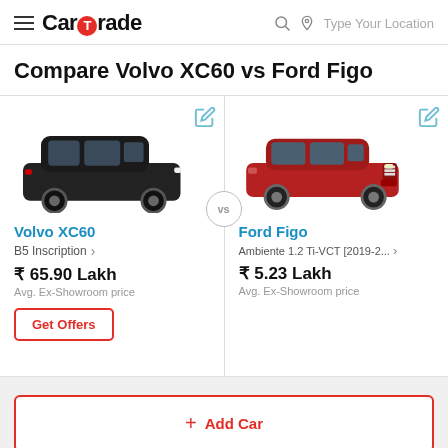CarTrade — Type Your Location
Compare Volvo XC60 vs Ford Figo
[Figure (photo): Volvo XC60 black SUV side profile image]
[Figure (photo): Ford Figo red hatchback front three-quarter image]
Volvo XC60
B5 Inscription >
₹ 65.90 Lakh
Avg. Ex-Showroom price
Get Offers
Ford Figo
Ambiente 1.2 Ti-VCT [2019-2... >
₹ 5.23 Lakh
Avg. Ex-Showroom price
+ Add Car